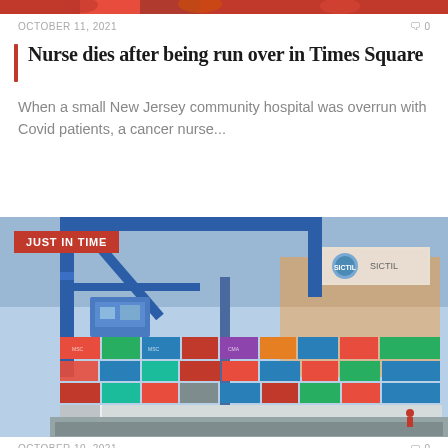[Figure (photo): Partial top strip of a news article image showing people, partially cropped]
OCTOBER 11, 2021   🗨 0
Nurse dies after being run over in Times Square
When a small New Jersey community hospital was overrun with Covid patients, a cancer nurse...
[Figure (photo): Port/shipping container yard with large blue crane structures and stacked colorful shipping containers, labeled JUST IN TIME]
OCTOBER 10, 2021   🗨 0